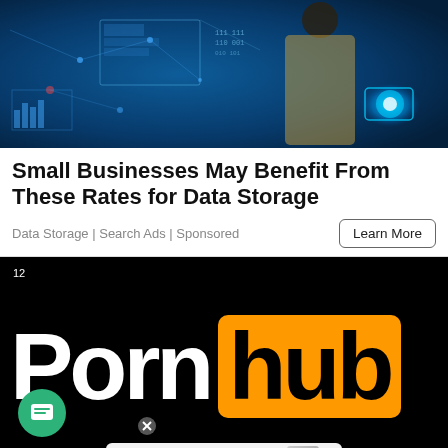[Figure (photo): Woman interacting with glowing digital data visualizations and holographic interfaces against a blue tech background]
Small Businesses May Benefit From These Rates for Data Storage
Data Storage | Search Ads | Sponsored
Learn More
[Figure (screenshot): Pornhub logo on black background with an embedded OPPO Reno8 Series advertisement overlay and a green chat button]